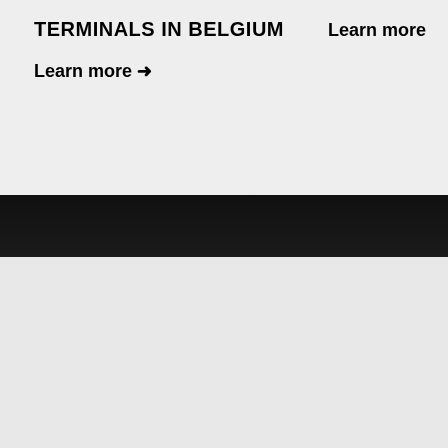TERMINALS IN BELGIUM
Learn more →
Learn more →
We use cookies on our website to give you the most relevant experience by remembering your preferences and repeat visits. By clicking "Accept All", you consent to the use of ALL the cookies. However, you may visit "Cookie Settings" to provide a controlled consent.
Cookie Settings
Accept All